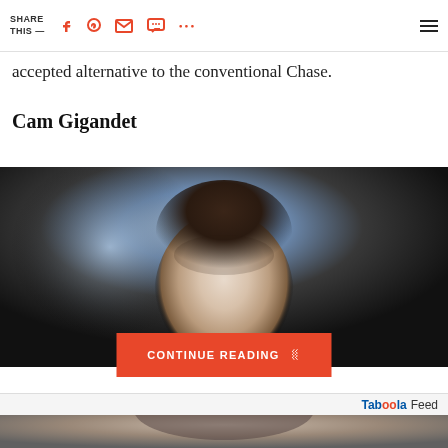SHARE THIS —  [social icons: Facebook, Pinterest, Email, Message, More] [hamburger menu]
accepted alternative to the conventional Chase.
Cam Gigandet
[Figure (photo): Close-up photograph of a man's face and hair, dark background with bokeh lighting effect]
CONTINUE READING ∨
Taboola Feed
[Figure (photo): Partial bottom strip showing grayscale image of a person]